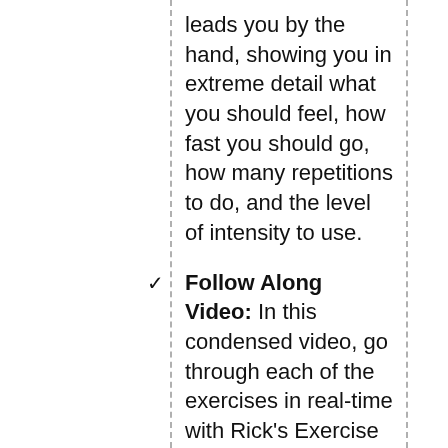leads you by the hand, showing you in extreme detail what you should feel, how fast you should go, how many repetitions to do, and the level of intensity to use.
Follow Along Video: In this condensed video, go through each of the exercises in real-time with Rick's Exercise Assistant. This is a great way to learn proper pacing as you gain confidence with the routines.
PDF Guide: you'll also receive